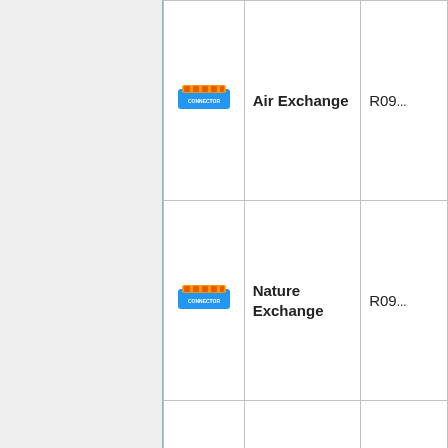| Icon | Name | Code |
| --- | --- | --- |
| [connector icon] | Air Exchange | R09... |
| [connector icon] | Nature Exchange | R09... |
|  |  |  |